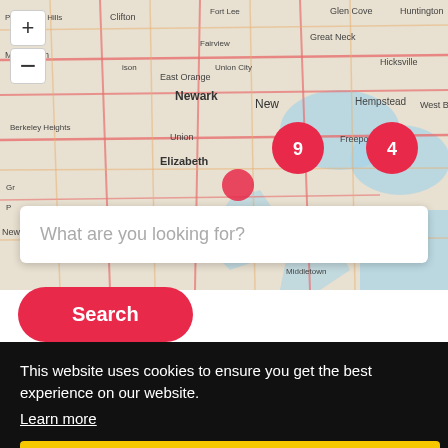[Figure (map): Interactive street map showing the New York / New Jersey metro area with cluster markers showing 9 and 4 results, map controls (+/-), a search box overlay, and a Search button.]
What are you looking for?
Search
This website uses cookies to ensure you get the best experience on our website.
Learn more
Got it!
Oxygen equipment supplier